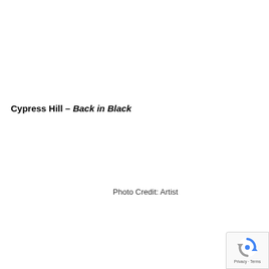Cypress Hill – Back in Black
Photo Credit: Artist
[Figure (logo): reCAPTCHA badge with Privacy and Terms text]